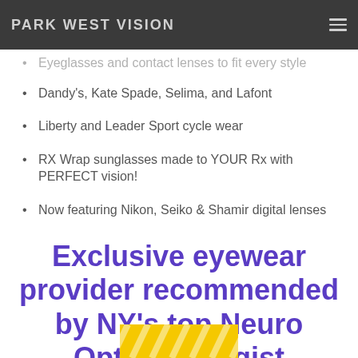PARK WEST VISION
Eyeglasses and contact lenses to fit every style
Dandy's, Kate Spade, Selima, and Lafont
Liberty and Leader Sport cycle wear
RX Wrap sunglasses made to YOUR Rx with PERFECT vision!
Now featuring Nikon, Seiko & Shamir digital lenses
Exclusive eyewear provider recommended by NY's top Neuro Opthalmologist
[Figure (photo): Yellow striped image at the bottom of the page]